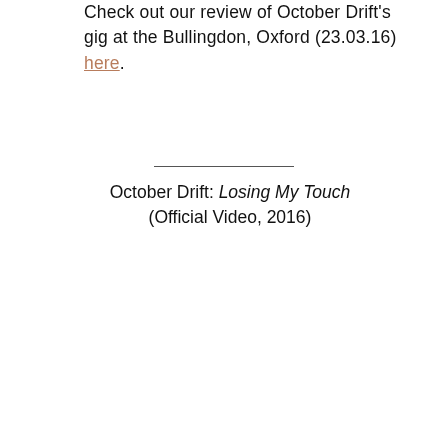Check out our review of October Drift's gig at the Bullingdon, Oxford (23.03.16) here.
October Drift: Losing My Touch (Official Video, 2016)